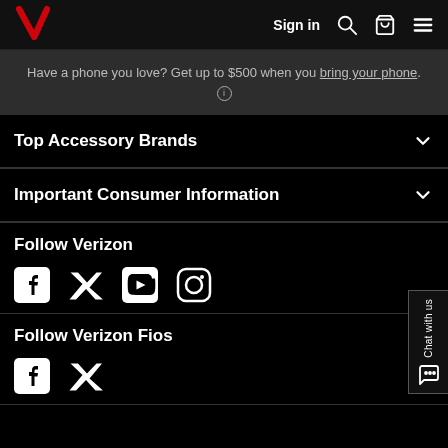Verizon — Sign in [navigation bar with search, bag, and menu icons]
Have a phone you love? Get up to $500 when you bring your phone. ℹ
Top Accessory Brands
Important Consumer Information
Follow Verizon
[Figure (other): Social media icons: Facebook, Twitter, YouTube, Instagram]
Follow Verizon Fios
[Figure (other): Social media icons: Facebook, Twitter]
Chat with us